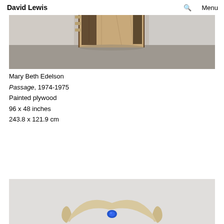David Lewis | Menu
[Figure (photo): A tall rectangular painted plywood sculpture with notched edges on the left side, showing dark wood grain and paint textures, displayed against a grey wall on a grey floor.]
Mary Beth Edelson
Passage, 1974-1975
Painted plywood
96 x 48 inches
243.8 x 121.9 cm
[Figure (photo): A curved horn or crescent-shaped sculpture with a blue element, displayed against a light grey background.]